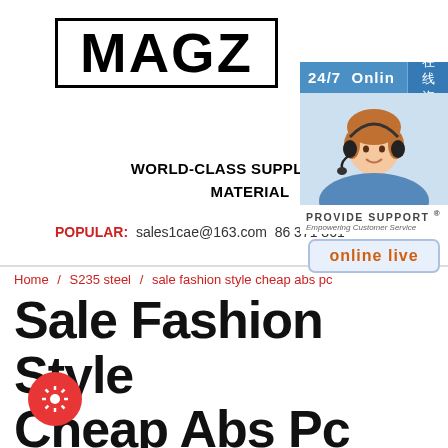[Figure (logo): MAGZ logo in bold black text inside a rectangular border]
[Figure (infographic): 24/7 Online support widget with customer service representative photo, Chinese text '在线咨询', Provide Support branding, and orange 'online live' button]
WORLD-CLASS SUPPLIER OF S MATERIAL
POPULAR: sales1cae@163.com 86 371 861
Home / S235 steel / sale fashion style cheap abs pc
Sale Fashion Style Cheap Abs Pc